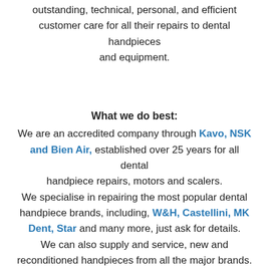outstanding, technical, personal, and efficient customer care for all their repairs to dental handpieces and equipment.
What we do best:
We are an accredited company through Kavo, NSK and Bien Air, established over 25 years for all dental handpiece repairs, motors and scalers. We specialise in repairing the most popular dental handpiece brands, including, W&H, Castellini, MK Dent, Star and many more, just ask for details. We can also supply and service, new and reconditioned handpieces from all the major brands.
Why we value our customers:
Your custom is so important to us, you will always talk to a technician personally and they will provide you with honest assessment of your repair needs. Alladent Services pride ourselves on taking personal